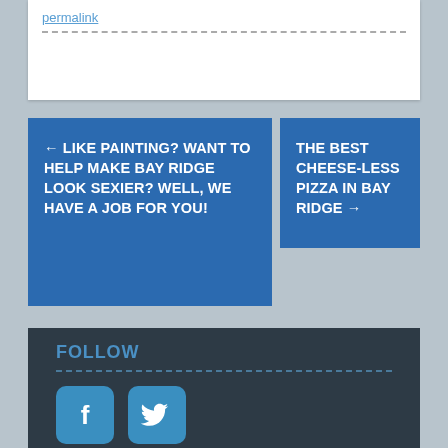permalink
← LIKE PAINTING? WANT TO HELP MAKE BAY RIDGE LOOK SEXIER? WELL, WE HAVE A JOB FOR YOU!
THE BEST CHEESE-LESS PIZZA IN BAY RIDGE →
FOLLOW
[Figure (illustration): Facebook icon - blue rounded square with white F letter]
[Figure (illustration): Twitter icon - blue rounded square with white bird logo]
FEATURED ARTICLES